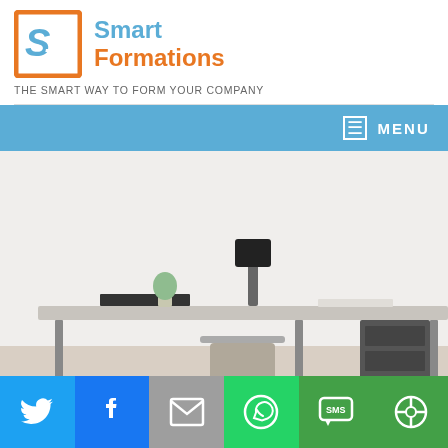[Figure (logo): Smart Formations logo: orange-bordered square with stylized SF letters in blue, beside text 'Smart' in blue and 'Formations' in orange]
THE SMART WAY TO FORM YOUR COMPANY
MENU
[Figure (photo): Modern minimalist office interior with L-shaped desk, laptop, lamp, wicker chair, small plant, and wall art in background]
[Figure (infographic): Social sharing bar with six buttons: Twitter (blue bird), Facebook (blue f), Email (grey envelope), WhatsApp (green phone), SMS (green SMS bubble), and a green share icon]